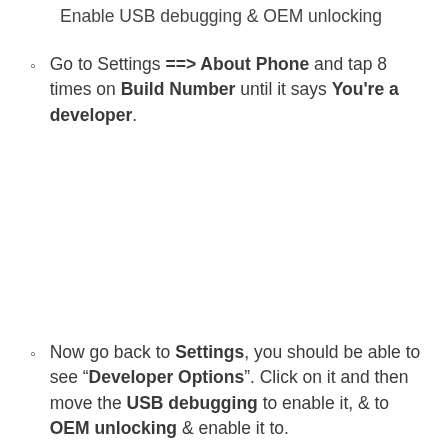Enable USB debugging & OEM unlocking
Go to Settings ==> About Phone and tap 8 times on Build Number until it says You're a developer.
Now go back to Settings, you should be able to see "Developer Options". Click on it and then move the USB debugging to enable it, & to OEM unlocking & enable it to.